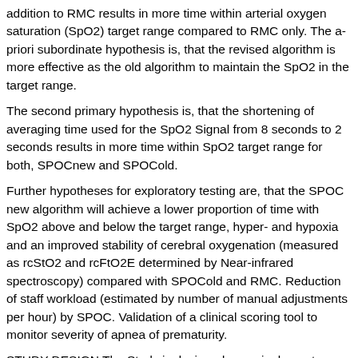addition to RMC results in more time within arterial oxygen saturation (SpO2) target range compared to RMC only. The a-priori subordinate hypothesis is, that the revised algorithm is more effective as the old algorithm to maintain the SpO2 in the target range.
The second primary hypothesis is, that the shortening of averaging time used for the SpO2 Signal from 8 seconds to 2 seconds results in more time within SpO2 target range for both, SPOCnew and SPOCold.
Further hypotheses for exploratory testing are, that the SPOC new algorithm will achieve a lower proportion of time with SpO2 above and below the target range, hyper- and hypoxia and an improved stability of cerebral oxygenation (measured as rcStO2 and rcFtO2E determined by Near-infrared spectroscopy) compared with SPOCold and RMC. Reduction of staff workload (estimated by number of manual adjustments per hour) by SPOC. Validation of a clinical scoring tool to monitor severity of apnea of prematurity.
STUDY DESIGN The Study is designed as a single-center,